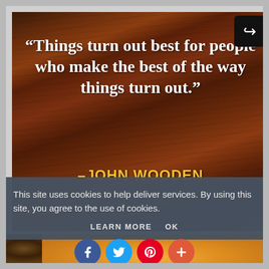[Figure (photo): Motivational quote on a dark wood background. Quote reads: "Things turn out best for people who make the best of the way things turn out." attributed to –JOHN WOODEN in gold/yellow bold text. A share/forward button icon is in the top-right corner.]
This site uses cookies to help deliver services. By using this site, you agree to the use of cookies.
LEARN MORE    OK
[Figure (photo): Bottom strip showing nuts and a golden orange/pie image partially visible.]